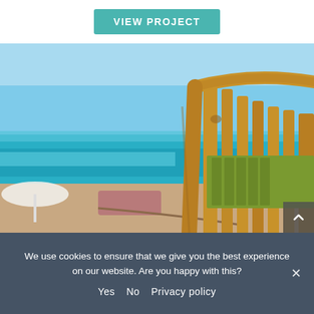[Figure (other): Teal/turquoise button labeled VIEW PROJECT centered on white background bar at top of page]
[Figure (photo): Beach scene with wooden teak lounge chair with green cushions in foreground, blue ocean and light blue sky in background, white umbrella visible at left]
We use cookies to ensure that we give you the best experience on our website. Are you happy with this?
Yes   No   Privacy policy